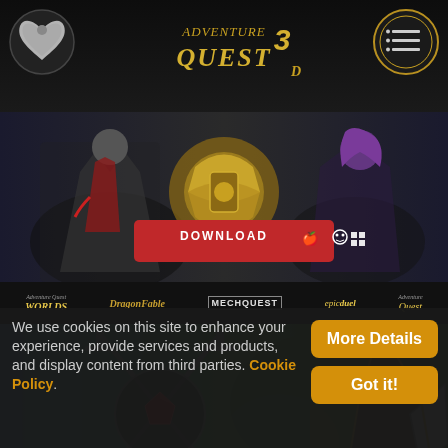[Figure (logo): AdventureQuest 3D game website header with logo, left wing icon and right menu icon]
[Figure (illustration): Hero banner showing AdventureQuest 3D characters with a red DOWNLOAD button with Apple, Linux, and Windows icons]
[Figure (logo): Navigation bar with game logos: AdventureQuest Worlds, DragonFable, MechQuest, epicduel, Adventure Quest]
[Figure (illustration): AdventureQuest Battle Gems banner with crossed swords logo and colorful fantasy artwork]
We use cookies on this site to enhance your experience, provide services and products, and display content from third parties. Cookie Policy.